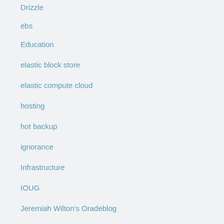Drizzle
ebs
Education
elastic block store
elastic compute cloud
hosting
hot backup
ignorance
Infrastructure
IOUG
Jeremiah Wilton's Oradeblog